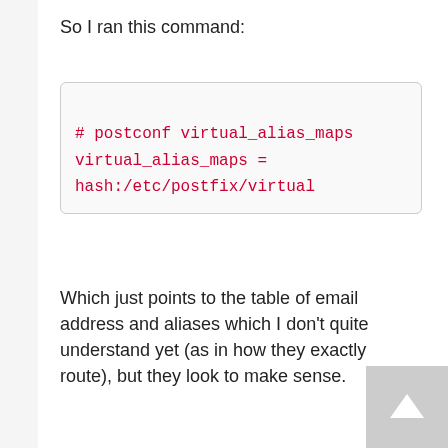So I ran this command:
# postconf virtual_alias_maps
virtual_alias_maps =
hash:/etc/postfix/virtual
Which just points to the table of email address and aliases which I don't quite understand yet (as in how they exactly route), but they look to make sense.
I can email this directly to you if you'd like to take a look, or login details for the server so you can inspect yourself, but don't really want to post it in the forum directly!